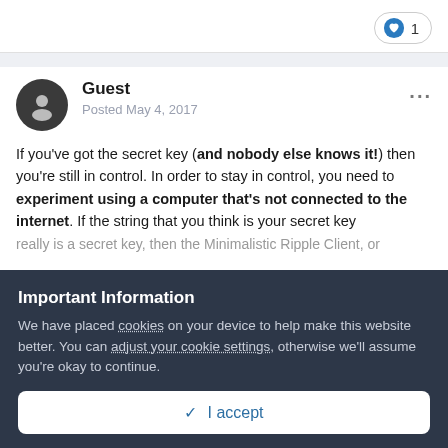[Figure (other): Like/heart button with count 1 in top right corner]
Guest
Posted May 4, 2017
If you've got the secret key (and nobody else knows it!) then you're still in control. In order to stay in control, you need to experiment using a computer that's not connected to the internet. If the string that you think is your secret key really is a secret key, then the Minimalistic Ripple Client, or…
Important Information
We have placed cookies on your device to help make this website better. You can adjust your cookie settings, otherwise we'll assume you're okay to continue.
✓  I accept